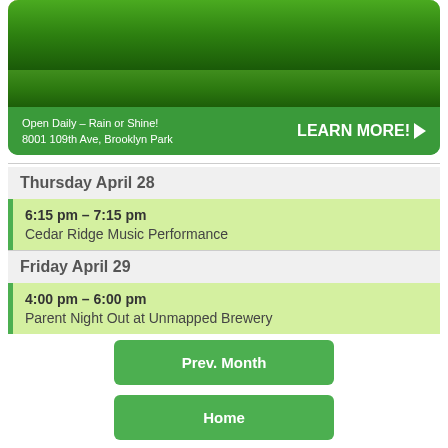[Figure (photo): Advertisement banner for a farm/outdoor venue. Shows a hand holding something, grass/field imagery, with green background. Text reads: '*Available for an extra cost.', 'Open Daily - Rain or Shine!', '8001 109th Ave, Brooklyn Park', 'LEARN MORE!']
Thursday April 28
6:15 pm – 7:15 pm
Cedar Ridge Music Performance
Friday April 29
4:00 pm – 6:00 pm
Parent Night Out at Unmapped Brewery
Prev. Month
Home
Next Month